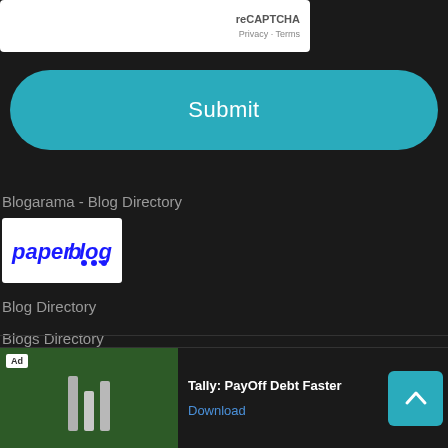[Figure (screenshot): reCAPTCHA widget box showing 'reCAPTCHA' text and 'Privacy · Terms' links]
[Figure (screenshot): Submit button — teal rounded rectangle with white 'Submit' text]
Blogarama - Blog Directory
[Figure (logo): paperblog logo — white box with blue 'paperblog' italic text and three blue dots]
Blog Directory
Blogs Directory
Built, Powered, & Developed By: Youtech Web Design Agency
[Figure (screenshot): Ad banner: 'Tally: PayOff Debt Faster' with Download link and green ad image block with Ad label, and teal scroll-to-top button]